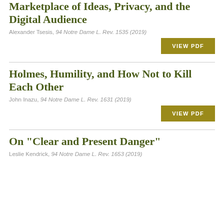Marketplace of Ideas, Privacy, and the Digital Audience
Alexander Tsesis, 94 Notre Dame L. Rev. 1535 (2019)
VIEW PDF
Holmes, Humility, and How Not to Kill Each Other
John Inazu, 94 Notre Dame L. Rev. 1631 (2019)
VIEW PDF
On "Clear and Present Danger"
Leslie Kendrick, 94 Notre Dame L. Rev. 1653 (2019)